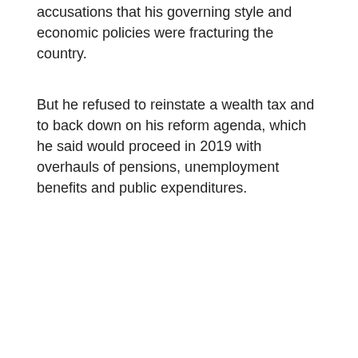accusations that his governing style and economic policies were fracturing the country.
But he refused to reinstate a wealth tax and to back down on his reform agenda, which he said would proceed in 2019 with overhauls of pensions, unemployment benefits and public expenditures.